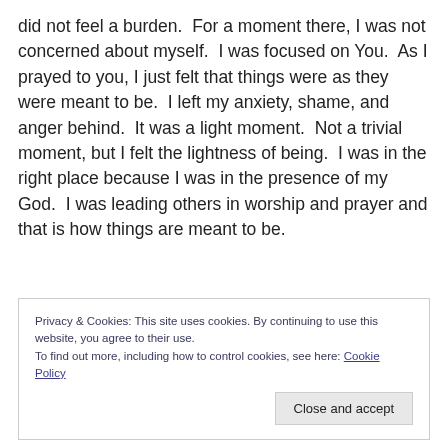did not feel a burden.  For a moment there, I was not concerned about myself.  I was focused on You.  As I prayed to you, I just felt that things were as they were meant to be.  I left my anxiety, shame, and anger behind.  It was a light moment.  Not a trivial moment, but I felt the lightness of being.  I was in the right place because I was in the presence of my God.  I was leading others in worship and prayer and that is how things are meant to be.
Privacy & Cookies: This site uses cookies. By continuing to use this website, you agree to their use.
To find out more, including how to control cookies, see here: Cookie Policy